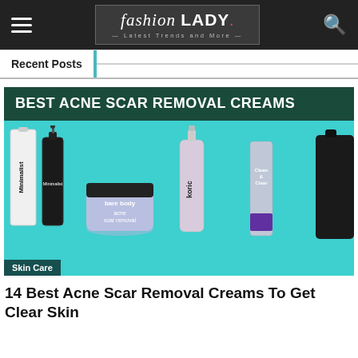fashion LADY — Latest Trends and More —
Recent Posts
[Figure (photo): Best Acne Scar Removal Creams article banner image showing various skincare products (Minimalist, bare body acne scar removal, Koric, Clean & Clear) on a teal background with dark green header text reading BEST ACNE SCAR REMOVAL CREAMS. A 'Skin Care' label appears at the bottom left.]
14 Best Acne Scar Removal Creams To Get Clear Skin